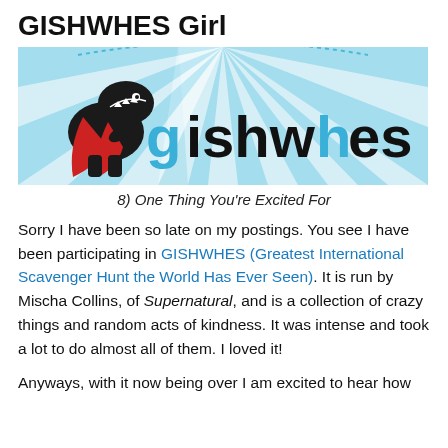GISHWHES Girl
[Figure (illustration): GISHWHES banner image with a T-rex wearing a superhero cape on the left, with radiating blue and white rays in the background and the word 'gishwhes' in large black and blue text on the right.]
8) One Thing You're Excited For
Sorry I have been so late on my postings. You see I have been participating in GISHWHES (Greatest International Scavenger Hunt the World Has Ever Seen). It is run by Mischa Collins, of Supernatural, and is a collection of crazy things and random acts of kindness. It was intense and took a lot to do almost all of them. I loved it!
Anyways, with it now being over I am excited to hear how